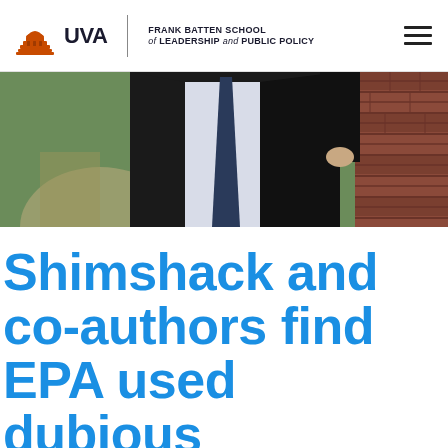UVA Frank Batten School of Leadership and Public Policy
[Figure (photo): A man in a dark suit with a dark tie standing against a brick wall with greenery in the background]
Shimshack and co-authors find EPA used dubious methodology to